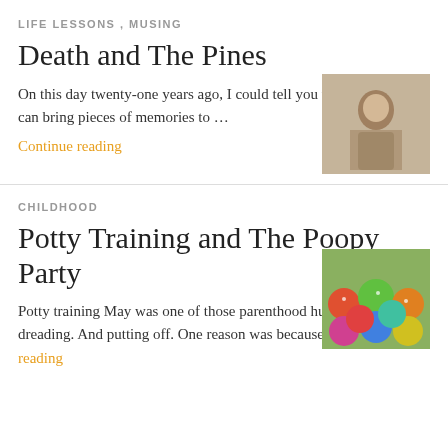LIFE LESSONS , MUSING
Death and The Pines
[Figure (photo): Sepia-toned photo of a person]
On this day twenty-one years ago, I could tell you where I was. I can bring pieces of memories to …
Continue reading
CHILDHOOD
Potty Training and The Poopy Party
[Figure (photo): Colorful decorated cake balls or cupcakes]
Potty training May was one of those parenthood hurdles that I kept dreading. And putting off. One reason was because … Continue reading